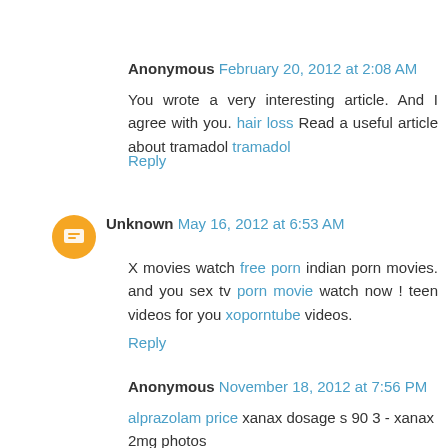Anonymous  February 20, 2012 at 2:08 AM
You wrote a very interesting article. And I agree with you. hair loss Read a useful article about tramadol tramadol
Reply
Unknown  May 16, 2012 at 6:53 AM
X movies watch free porn indian porn movies. and you sex tv porn movie watch now ! teen videos for you xoporntube videos.
Reply
Anonymous  November 18, 2012 at 7:56 PM
alprazolam price xanax dosage s 90 3 - xanax 2mg photos
Reply